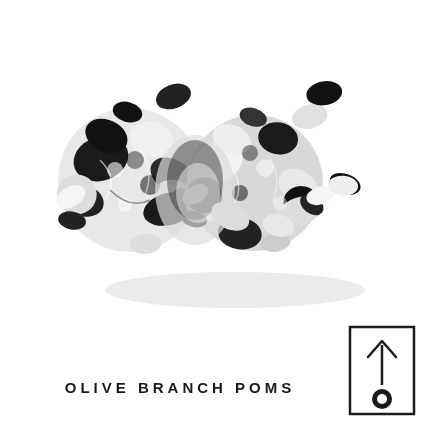[Figure (photo): A decorative pom-pom made from black and white patterned fabric with an intricate olive branch/floral print, arranged in a clustered bunch, photographed on a white background with a subtle shadow.]
OLIVE BRANCH POMS
[Figure (schematic): A simple line icon showing a rectangular tag or label shape with an upward-pointing arrow at the top and a circular eyelet/hole at the bottom, indicating orientation or hanging direction.]